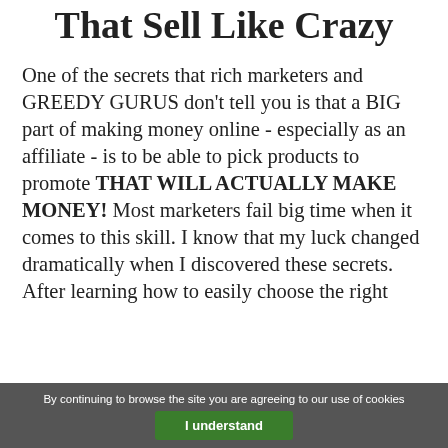That Sell Like Crazy
One of the secrets that rich marketers and GREEDY GURUS don't tell you is that a BIG part of making money online - especially as an affiliate - is to be able to pick products to promote THAT WILL ACTUALLY MAKE MONEY! Most marketers fail big time when it comes to this skill. I know that my luck changed dramatically when I discovered these secrets. After learning how to easily choose the right
By continuing to browse the site you are agreeing to our use of cookies
I understand